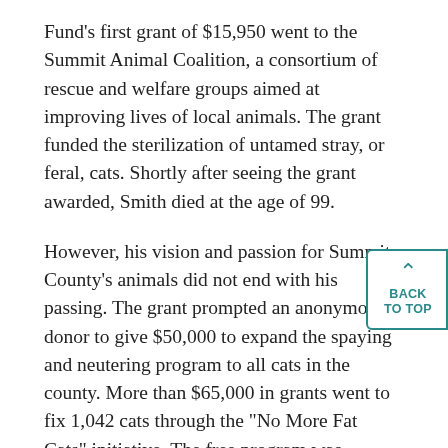Fund's first grant of $15,950 went to the Summit Animal Coalition, a consortium of rescue and welfare groups aimed at improving lives of local animals. The grant funded the sterilization of untamed stray, or feral, cats. Shortly after seeing the grant awarded, Smith died at the age of 99.
However, his vision and passion for Summit County's animals did not end with his passing. The grant prompted an anonymous donor to give $50,000 to expand the spaying and neutering program to all cats in the county. More than $65,000 in grants went to fix 1,042 cats through the "No More Fat Cats" initiative. The free program was coordinated by the Summit Animal Coalition and facilitated primarily by One of Kind Pets, which operated mobile clinics throughout the county. The sterilizations were free, but many residents reached into their wallets to support the